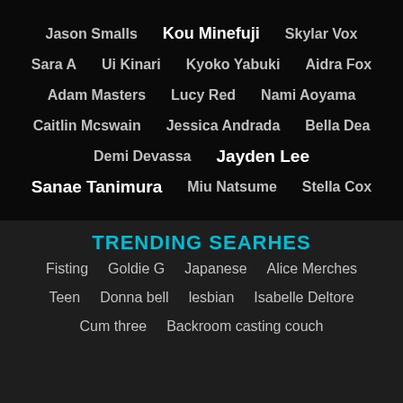Jason Smalls  Kou Minefuji  Skylar Vox
Sara A  Ui Kinari  Kyoko Yabuki  Aidra Fox
Adam Masters  Lucy Red  Nami Aoyama
Caitlin Mcswain  Jessica Andrada  Bella Dea
Demi Devassa  Jayden Lee
Sanae Tanimura  Miu Natsume  Stella Cox
TRENDING SEARHES
Fisting  Goldie G  Japanese  Alice Merches
Teen  Donna bell  lesbian  Isabelle Deltore
Cum three  Backroom casting couch